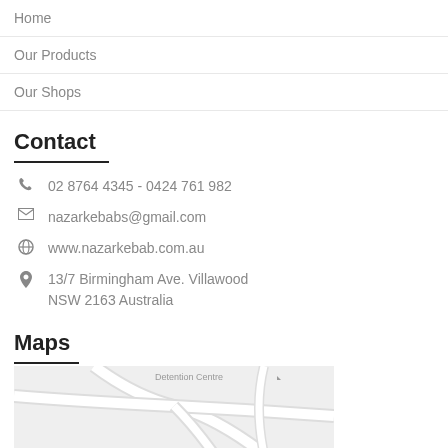Home
Our Products
Our Shops
Contact
02 8764 4345 - 0424 761 982
nazarkebabs@gmail.com
www.nazarkebab.com.au
13/7 Birmingham Ave. Villawood NSW 2163 Australia
Maps
[Figure (map): Partial Google Maps view showing road layout near Villawood area with grey roads on light background, showing text 'Detention Centre' at top]